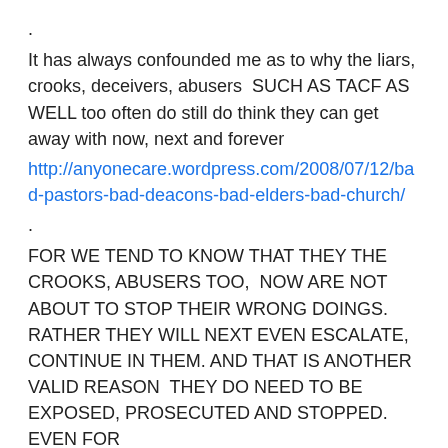.
It has always confounded me as to why the liars, crooks, deceivers, abusers  SUCH AS TACF AS WELL too often do still do think they can get away with now, next and forever
http://anyonecare.wordpress.com/2008/07/12/bad-pastors-bad-deacons-bad-elders-bad-church/
.
FOR WE TEND TO KNOW THAT THEY THE CROOKS, ABUSERS TOO,  NOW ARE NOT ABOUT TO STOP THEIR WRONG DOINGS. RATHER THEY WILL NEXT EVEN ESCALATE, CONTINUE IN THEM. AND THAT IS ANOTHER VALID REASON  THEY DO NEED TO BE EXPOSED, PROSECUTED AND STOPPED. EVEN FOR